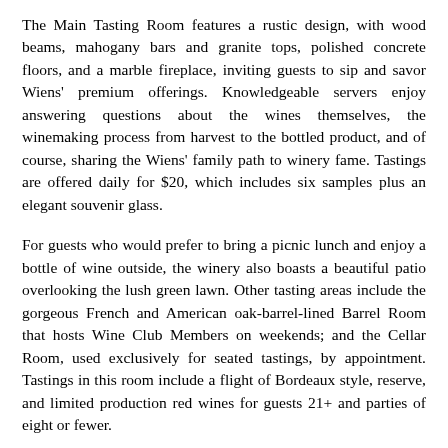The Main Tasting Room features a rustic design, with wood beams, mahogany bars and granite tops, polished concrete floors, and a marble fireplace, inviting guests to sip and savor Wiens' premium offerings. Knowledgeable servers enjoy answering questions about the wines themselves, the winemaking process from harvest to the bottled product, and of course, sharing the Wiens' family path to winery fame. Tastings are offered daily for $20, which includes six samples plus an elegant souvenir glass.
For guests who would prefer to bring a picnic lunch and enjoy a bottle of wine outside, the winery also boasts a beautiful patio overlooking the lush green lawn. Other tasting areas include the gorgeous French and American oak-barrel-lined Barrel Room that hosts Wine Club Members on weekends; and the Cellar Room, used exclusively for seated tastings, by appointment. Tastings in this room include a flight of Bordeaux style, reserve, and limited production red wines for guests 21+ and parties of eight or fewer.
Becoming a wine club member is a perfect way to enjoy all the winery has to offer. Prospective members may choose from three options. All offer handcrafted wines straight from Wiens' vast vineyard, along with discounts, complimentary private tastings in the...